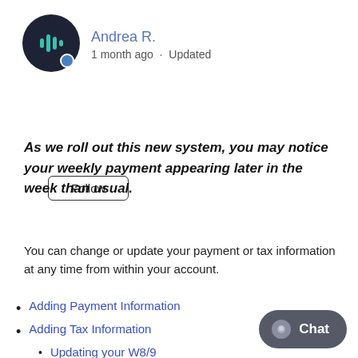[Figure (illustration): User avatar icon with dark circular background showing stylized audio/sound wave logo in teal, with a small blue dot badge at bottom right]
Andrea R.
1 month ago · Updated
Follow
As we roll out this new system, you may notice your weekly payment appearing later in the week than usual.
You can change or update your payment or tax information at any time from within your account.
Adding Payment Information
Adding Tax Information
Updating your W8/9
TIN/FTIN rejections
I don't have or don't know my TIN/FTIN
When will I receive my payment?